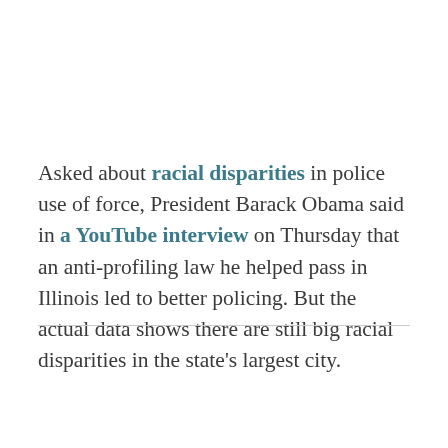Asked about racial disparities in police use of force, President Barack Obama said in a YouTube interview on Thursday that an anti-profiling law he helped pass in Illinois led to better policing. But the actual data shows there are still big racial disparities in the state's largest city.